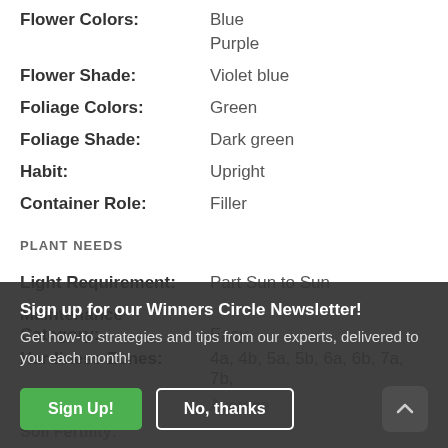Flower Colors: Blue
Purple
Flower Shade: Violet blue
Foliage Colors: Green
Foliage Shade: Dark green
Habit: Upright
Container Role: Filler
PLANT NEEDS
Light Requirement: Part Sun to Sun
Maintenance Category: Easy
Hardiness Zones: 4a, 4b, 5a, 5b, 6a, 6b, 7a, 7b,
Water Category: Average
Soil Fertility:
Sign up for our Winners Circle Newsletter! Get how-to strategies and tips from our experts, delivered to you each month!